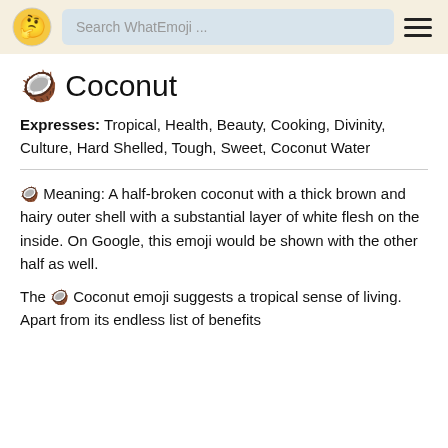Search WhatEmoji ...
🥥 Coconut
Expresses: Tropical, Health, Beauty, Cooking, Divinity, Culture, Hard Shelled, Tough, Sweet, Coconut Water
🥥 Meaning: A half-broken coconut with a thick brown and hairy outer shell with a substantial layer of white flesh on the inside. On Google, this emoji would be shown with the other half as well.
The 🥥 Coconut emoji suggests a tropical sense of living. Apart from its endless list of benefits